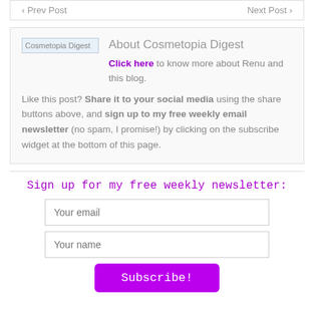‹ Prev Post    Next Post ›
About Cosmetopia Digest
Click here to know more about Renu and this blog.
Like this post? Share it to your social media using the share buttons above, and sign up to my free weekly email newsletter (no spam, I promise!) by clicking on the subscribe widget at the bottom of this page.
Sign up for my free weekly newsletter:
Your email
Your name
Subscribe!